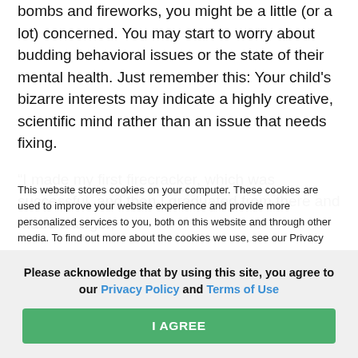bombs and fireworks, you might be a little (or a lot) concerned. You may start to worry about budding behavioral issues or the state of their mental health. Just remember this: Your child's bizarre interests may indicate a highly creative, scientific mind rather than an issue that needs fixing.
“I made my first firecracker, which was successful, and then I graduated from there and made a larger,
This website stores cookies on your computer. These cookies are used to improve your website experience and provide more personalized services to you, both on this website and through other media. To find out more about the cookies we use, see our Privacy Policy.
We won't track your information when you visit our site. But in order to comply with your
Please acknowledge that by using this site, you agree to our Privacy Policy and Terms of Use
I AGREE